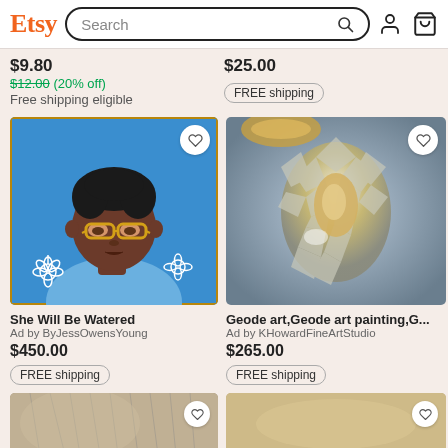Etsy Search
$9.80
$12.00 (20% off)
Free shipping eligible
$25.00
FREE shipping
[Figure (illustration): Illustrated portrait of a young person with dark skin, curly black hair, yellow glasses, blue shirt, on a blue background with white flower outlines]
She Will Be Watered
Ad by ByJessOwensYoung
$450.00
FREE shipping
[Figure (photo): Close-up photo of geode art with silver/gold crystals and blue/grey resin background]
Geode art,Geode art painting,G...
Ad by KHowardFineArtStudio
$265.00
FREE shipping
[Figure (photo): Partial view of a photo showing animal fur, cut off at bottom]
[Figure (photo): Partial view of a product photo, cut off at bottom]